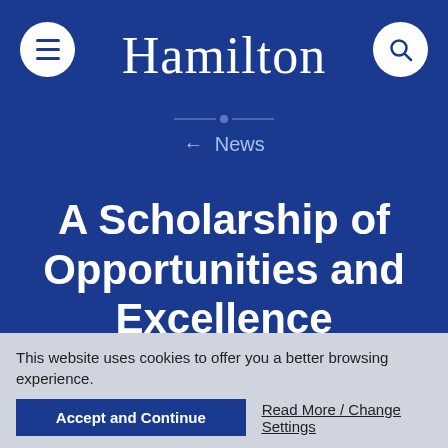Hamilton
← News
A Scholarship of Opportunities and Excellence
May 29, 2020
College News
This website uses cookies to offer you a better browsing experience.
Accept and Continue
Read More / Change Settings